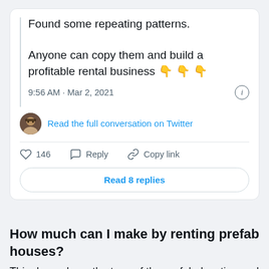[Figure (screenshot): Twitter/X embedded tweet card showing tweet text: 'Found some repeating patterns. Anyone can copy them and build a profitable rental business 👇👇👇', timestamp '9:56 AM · Mar 2, 2021', with a 'Read the full conversation on Twitter' link, like count 146, Reply and Copy link actions, and a 'Read 8 replies' button.]
How much can I make by renting prefab houses?
This depends on the type of the prefab, location and your skills. The database will help